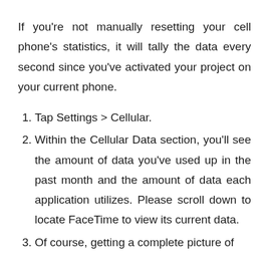If you're not manually resetting your cell phone's statistics, it will tally the data every second since you've activated your project on your current phone.
1. Tap Settings > Cellular.
2. Within the Cellular Data section, you'll see the amount of data you've used up in the past month and the amount of data each application utilizes. Please scroll down to locate FaceTime to view its current data.
3. Of course, getting a complete picture of